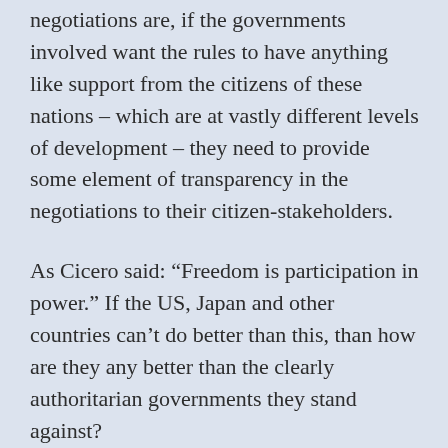negotiations are, if the governments involved want the rules to have anything like support from the citizens of these nations – which are at vastly different levels of development – they need to provide some element of transparency in the negotiations to their citizen-stakeholders.
As Cicero said: “Freedom is participation in power.” If the US, Japan and other countries can’t do better than this, than how are they any better than the clearly authoritarian governments they stand against?
Share this: